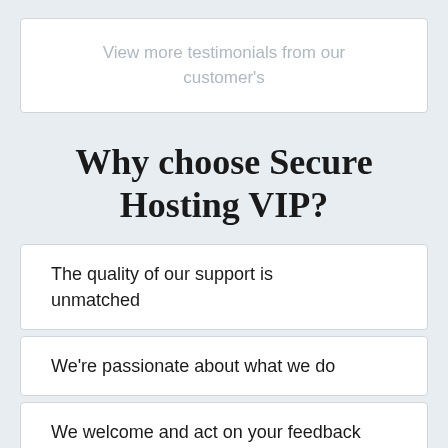View more testimonials from our customer's
Why choose Secure Hosting VIP?
The quality of our support is unmatched
We're passionate about what we do
We welcome and act on your feedback